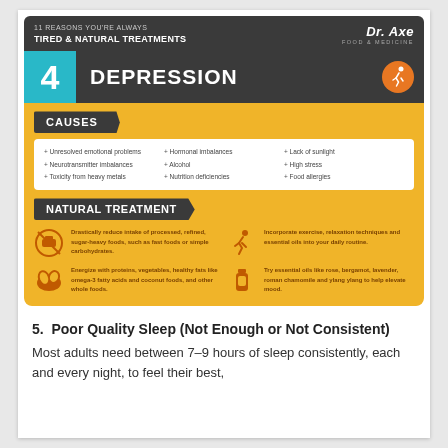[Figure (infographic): Infographic from Dr. Axe: '11 Reasons You're Always Tired & Natural Treatments' — Item #4 DEPRESSION. Shows Causes section listing: Unresolved emotional problems, Neurotransmitter imbalances, Toxicity from heavy metals, Hormonal imbalances, Alcohol, Nutrition deficiencies, Lack of sunlight, High stress, Food allergies. Shows Natural Treatment section with 4 items: drastically reduce processed/refined/sugar-heavy foods; energize with proteins/vegetables/healthy fats; incorporate exercise, relaxation techniques and essential oils; try essential oils like rose, bergamot, lavender, roman chamomile and ylang ylang.]
5.  Poor Quality Sleep (Not Enough or Not Consistent)
Most adults need between 7–9 hours of sleep consistently, each and every night, to feel their best,